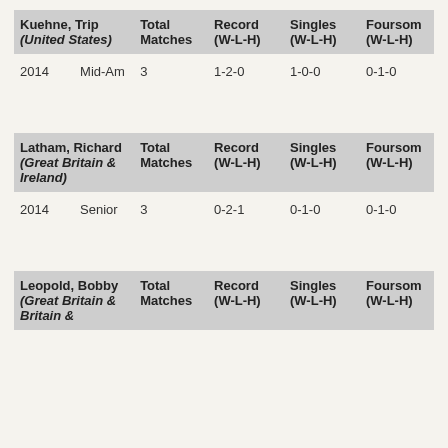| Kuehne, Trip (United States) |  | Total Matches | Record (W-L-H) | Singles (W-L-H) | Foursome (W-L-H) |
| --- | --- | --- | --- | --- | --- |
| 2014 | Mid-Am | 3 | 1-2-0 | 1-0-0 | 0-1-0 |
| Latham, Richard (Great Britain & Ireland) |  | Total Matches | Record (W-L-H) | Singles (W-L-H) | Foursome (W-L-H) |
| --- | --- | --- | --- | --- | --- |
| 2014 | Senior | 3 | 0-2-1 | 0-1-0 | 0-1-0 |
| Leopold, Bobby (Great Britain & Ireland) |  | Total Matches | Record (W-L-H) | Singles (W-L-H) | Foursome (W-L-H) |
| --- | --- | --- | --- | --- | --- |